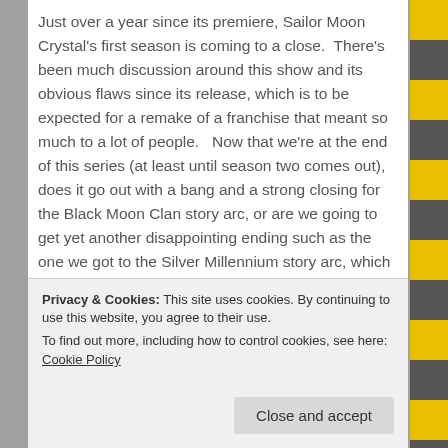Just over a year since its premiere, Sailor Moon Crystal's first season is coming to a close.  There's been much discussion around this show and its obvious flaws since its release, which is to be expected for a remake of a franchise that meant so much to a lot of people.   Now that we're at the end of this series (at least until season two comes out), does it go out with a bang and a strong closing for the Black Moon Clan story arc, or are we going to get yet another disappointing ending such as the one we got to the Silver Millennium story arc, which many would see as...
Privacy & Cookies: This site uses cookies. By continuing to use this website, you agree to their use.
To find out more, including how to control cookies, see here: Cookie Policy
Close and accept
entourage falling through an endless abyss of some